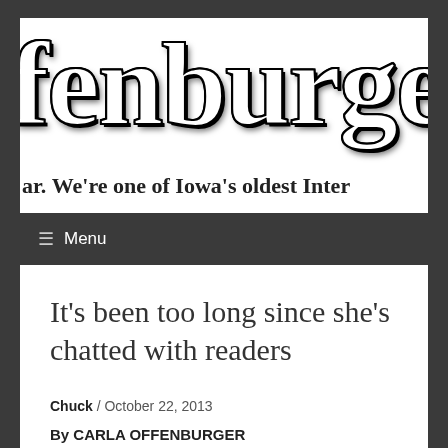fenburger.
ar. We're one of Iowa's oldest Inter
≡ Menu
It's been too long since she's chatted with readers
Chuck / October 22, 2013
By CARLA OFFENBURGER